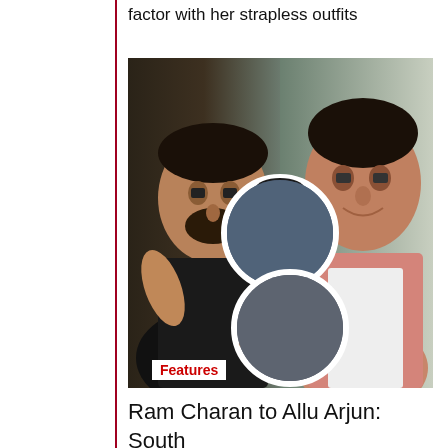factor with her strapless outfits
[Figure (photo): Composite image showing Ram Charan (left, in black t-shirt) and Prabhas (right, in pink shirt) as main figures, with two circular inset photos of another South Indian actor in a private jet setting]
Features
Ram Charan to Allu Arjun: South